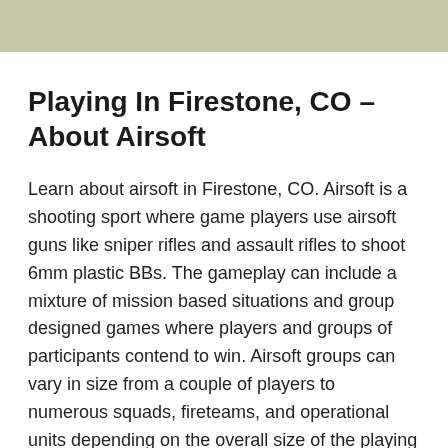Playing In Firestone, CO – About Airsoft
Learn about airsoft in Firestone, CO. Airsoft is a shooting sport where game players use airsoft guns like sniper rifles and assault rifles to shoot 6mm plastic BBs. The gameplay can include a mixture of mission based situations and group designed games where players and groups of participants contend to win. Airsoft groups can vary in size from a couple of players to numerous squads, fireteams, and operational units depending on the overall size of the playing field and player attendance. Bigger fields